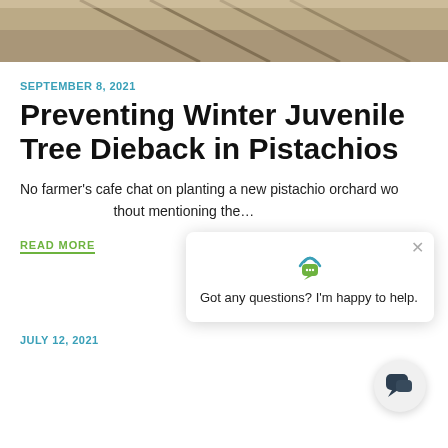[Figure (photo): Top strip of a photo showing an outdoor agricultural scene with rails or irrigation pipes on sandy ground]
SEPTEMBER 8, 2021
Preventing Winter Juvenile Tree Dieback in Pistachios
No farmer's cafe chat on planting a new pistachio orchard would be complete without mentioning the…
READ MORE
[Figure (screenshot): Chat widget overlay with logo, close button, and text: Got any questions? I'm happy to help.]
JULY 12, 2021